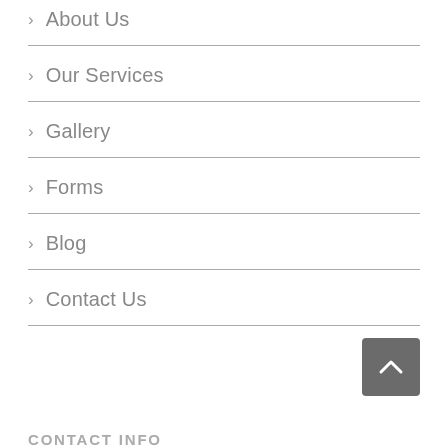> About Us
> Our Services
> Gallery
> Forms
> Blog
> Contact Us
[Figure (other): Back to top button, dark gray rounded square with upward chevron arrow]
CONTACT INFO